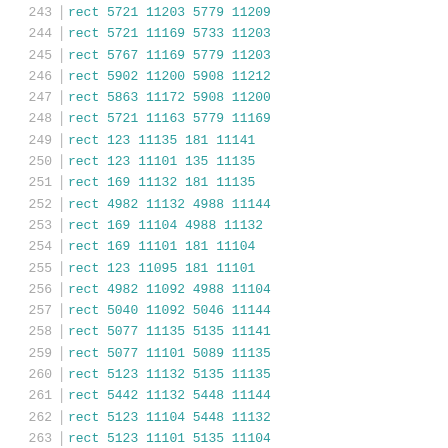| line | type | x1 | y1 | x2 | y2 |
| --- | --- | --- | --- | --- | --- |
| 243 | rect | 5721 | 11203 | 5779 | 11209 |
| 244 | rect | 5721 | 11169 | 5733 | 11203 |
| 245 | rect | 5767 | 11169 | 5779 | 11203 |
| 246 | rect | 5902 | 11200 | 5908 | 11212 |
| 247 | rect | 5863 | 11172 | 5908 | 11200 |
| 248 | rect | 5721 | 11163 | 5779 | 11169 |
| 249 | rect | 123 | 11135 | 181 | 11141 |
| 250 | rect | 123 | 11101 | 135 | 11135 |
| 251 | rect | 169 | 11132 | 181 | 11135 |
| 252 | rect | 4982 | 11132 | 4988 | 11144 |
| 253 | rect | 169 | 11104 | 4988 | 11132 |
| 254 | rect | 169 | 11101 | 181 | 11104 |
| 255 | rect | 123 | 11095 | 181 | 11101 |
| 256 | rect | 4982 | 11092 | 4988 | 11104 |
| 257 | rect | 5040 | 11092 | 5046 | 11144 |
| 258 | rect | 5077 | 11135 | 5135 | 11141 |
| 259 | rect | 5077 | 11101 | 5089 | 11135 |
| 260 | rect | 5123 | 11132 | 5135 | 11135 |
| 261 | rect | 5442 | 11132 | 5448 | 11144 |
| 262 | rect | 5123 | 11104 | 5448 | 11132 |
| 263 | rect | 5123 | 11101 | 5135 | 11104 |
| 264 | rect | 5077 | 11095 | 5135 | 11101 |